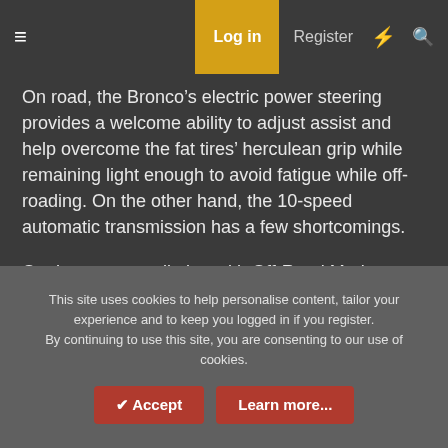Log in  Register
On road, the Bronco’s electric power steering provides a welcome ability to adjust assist and help overcome the fat tires’ herculean grip while remaining light enough to avoid fatigue while off-roading. On the other hand, the 10-speed automatic transmission has a few shortcomings.
On the steepest climbs, with Off-Road Mode selected on the GOAT dial to activate 4-Low, I discovered that the gearbox allows the engine to climb up quickly past 4,500 RPM until the turbocharger torque simply overwhelms traction and causes a momentary slip, at which point the
This site uses cookies to help personalise content, tailor your experience and to keep you logged in if you register.
By continuing to use this site, you are consenting to our use of cookies.
✔ Accept  Learn more...